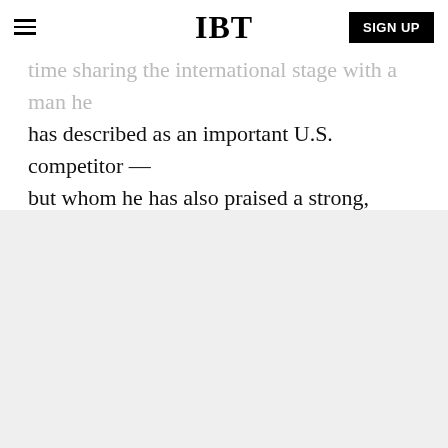IBT
time sharing the international stage with a man he has described as an important U.S. competitor — but whom he has also praised a strong, effective leader.
[Figure (screenshot): IBT video widget showing a David Bowie-style face with colorful makeup, with IBT logo badge, three-dot menu, title 'NewSpiderGenus,Se...', and a progress bar at top. Background has colorful sphere decorations.]
Advertise